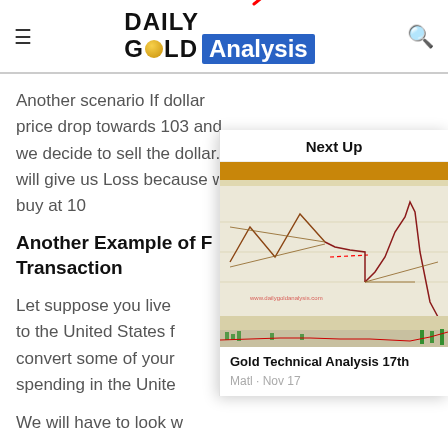[Figure (logo): Daily Gold Analysis logo with red upward arrow, hamburger menu icon on left, search icon on right]
Another scenario If dollar price drop towards 103 and we decide to sell the dollar.It will give us Loss because we buy at 10
Another Example of F Transaction
Let suppose you live to the United States f convert some of your spending in the Unite
We will have to look w
[Figure (screenshot): Next Up panel showing Gold Technical Analysis chart screenshot]
Gold Technical Analysis 17th
Matl • Nov 17